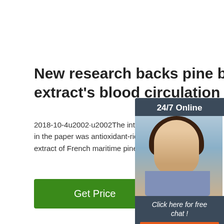New research backs pine bark extract's blood circulation ...
2018-10-4u2002·u2002The intervention ingredient in the paper was antioxidant-rich Pycnogenol, a b extract of French maritime pine bark manufactur
[Figure (screenshot): Green 'Get Price' button]
[Figure (photo): Chat widget with woman wearing headset, '24/7 Online' header, 'Click here for free chat!' text, and orange 'QUOTATION' button]
[Figure (photo): Nature scene with green foliage background and white cylindrical containers/pills in foreground with TOP watermark logo in orange]